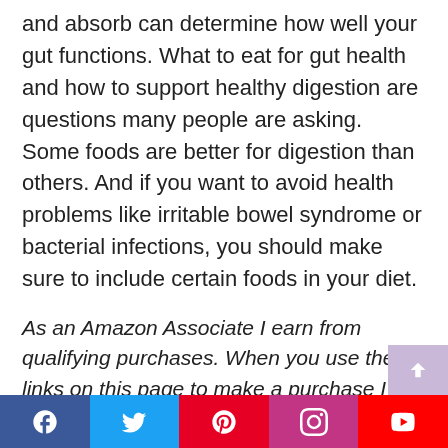and absorb can determine how well your gut functions. What to eat for gut health and how to support healthy digestion are questions many people are asking.  Some foods are better for digestion than others. And if you want to avoid health problems like irritable bowel syndrome or bacterial infections, you should make sure to include certain foods in your diet.
As an Amazon Associate I earn from qualifying purchases. When you use the links on this page to make a purchase I may get a small